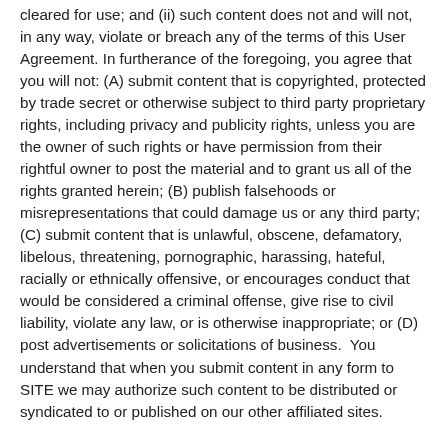cleared for use; and (ii) such content does not and will not, in any way, violate or breach any of the terms of this User Agreement. In furtherance of the foregoing, you agree that you will not: (A) submit content that is copyrighted, protected by trade secret or otherwise subject to third party proprietary rights, including privacy and publicity rights, unless you are the owner of such rights or have permission from their rightful owner to post the material and to grant us all of the rights granted herein; (B) publish falsehoods or misrepresentations that could damage us or any third party; (C) submit content that is unlawful, obscene, defamatory, libelous, threatening, pornographic, harassing, hateful, racially or ethnically offensive, or encourages conduct that would be considered a criminal offense, give rise to civil liability, violate any law, or is otherwise inappropriate; or (D) post advertisements or solicitations of business.  You understand that when you submit content in any form to SITE we may authorize such content to be distributed or syndicated to or published on our other affiliated sites.